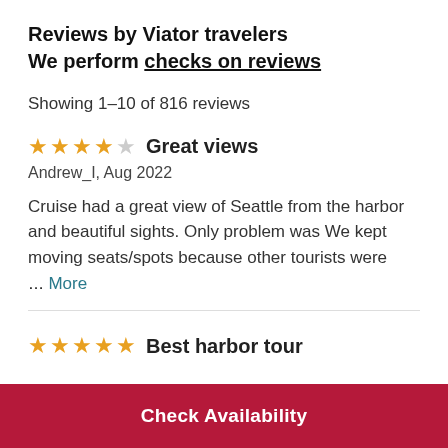Reviews by Viator travelers
We perform checks on reviews
Showing 1-10 of 816 reviews
★★★★☆ Great views
Andrew_I, Aug 2022
Cruise had a great view of Seattle from the harbor and beautiful sights. Only problem was We kept moving seats/spots because other tourists were … More
★★★★★ Best harbor tour
Check Availability